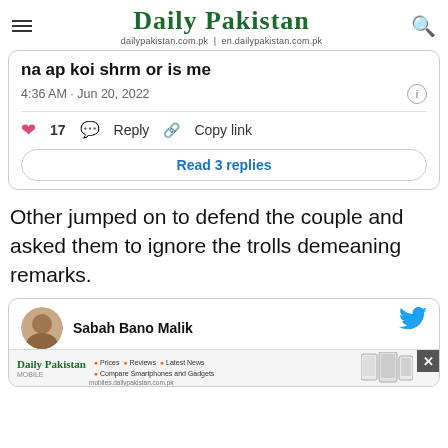Daily Pakistan | dailypakistan.com.pk | en.dailypakistan.com.pk
[Figure (screenshot): Tweet card showing partial text 'na ap koi shrm or is me', timestamp '4:36 AM · Jun 20, 2022', with 17 likes, Reply, Copy link actions and 'Read 3 replies' button]
Other jumped on to defend the couple and asked them to ignore the trolls demeaning remarks.
[Figure (screenshot): Tweet card with avatar of Sabah Bano Malik, Twitter bird icon, and partial text 'If yo...' with Daily Pakistan mobile app advertisement at the bottom]